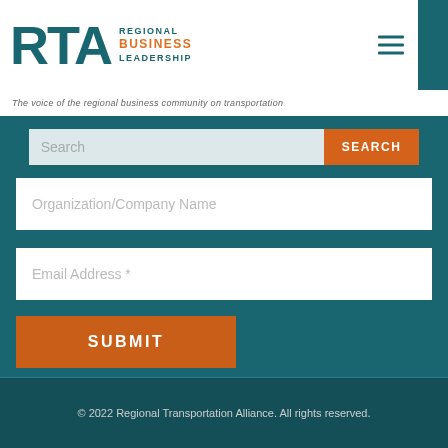[Figure (logo): RTA Regional Business Leadership logo with teal RTA letters and orange BUSINESS text]
The voice of the regional business community on transportation
Search
Organization/Company Name
Email Address *
SUBMIT
© 2022 Regional Transportation Alliance. All rights reserved.